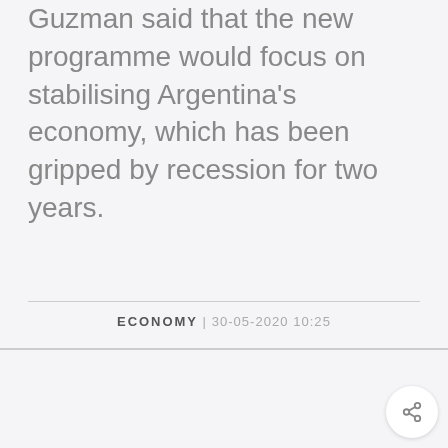Guzman said that the new programme would focus on stabilising Argentina's economy, which has been gripped by recession for two years.
ECONOMY | 30-05-2020 10:25